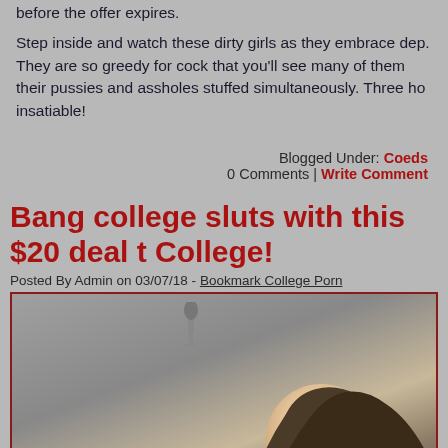before the offer expires.
Step inside and watch these dirty girls as they embrace dep. They are so greedy for cock that you'll see many of them their pussies and assholes stuffed simultaneously. Three ho insatiable!
Blogged Under: Coeds
0 Comments | Write Comment
Bang college sluts with this $20 deal t College!
Posted By Admin on 03/07/18 - Bookmark College Porn
[Figure (photo): Photo of a person, partially visible, with a microphone visible at top]